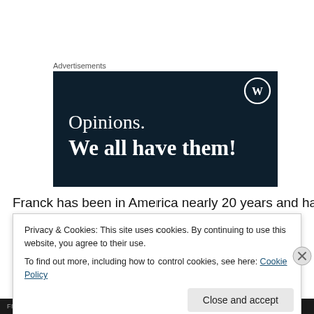Advertisements
[Figure (illustration): WordPress advertisement banner with dark navy background. Shows WordPress logo (circle W) in top right. Text reads: 'Opinions. We all have them!']
Franck has been in America nearly 20 years and has been
Privacy & Cookies: This site uses cookies. By continuing to use this website, you agree to their use.
To find out more, including how to control cookies, see here: Cookie Policy
Close and accept